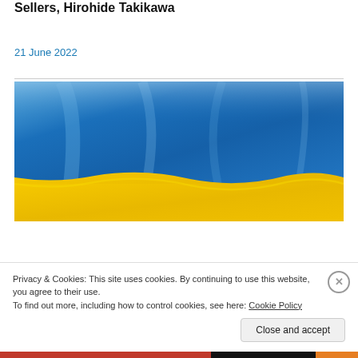Sellers, Hirohide Takikawa
21 June 2022
[Figure (photo): Ukrainian flag waving — blue upper half and yellow lower half]
Privacy & Cookies: This site uses cookies. By continuing to use this website, you agree to their use.
To find out more, including how to control cookies, see here: Cookie Policy